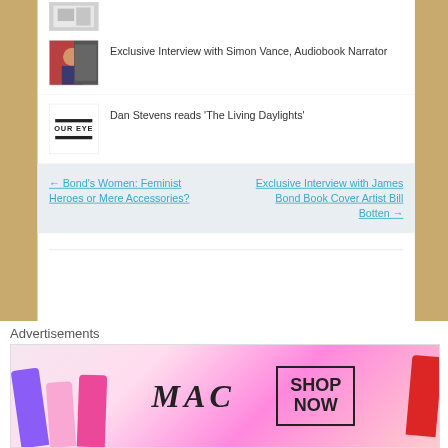[Figure (photo): Thumbnail image partially visible at top]
Exclusive Interview with Simon Vance, Audiobook Narrator
[Figure (photo): Photo of Simon Vance, audiobook narrator]
Dan Stevens reads ‘The Living Daylights’
[Figure (photo): Book cover thumbnail with text 'OUR EYE' and horizontal lines]
← Bond’s Women: Feminist Heroes or Mere Accessories?
Exclusive Interview with James Bond Book Cover Artist Bill Botten →
Advertisements
[Figure (photo): MAC cosmetics advertisement banner showing lipsticks with SHOP NOW button]